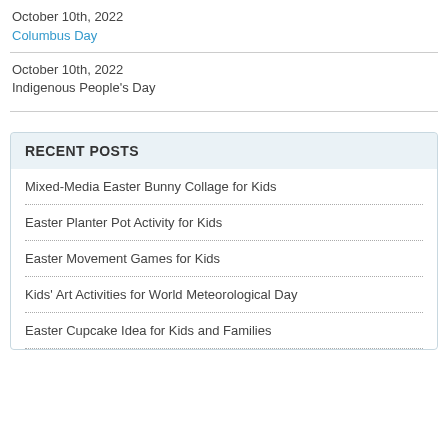October 10th, 2022
Columbus Day
October 10th, 2022
Indigenous People's Day
RECENT POSTS
Mixed-Media Easter Bunny Collage for Kids
Easter Planter Pot Activity for Kids
Easter Movement Games for Kids
Kids' Art Activities for World Meteorological Day
Easter Cupcake Idea for Kids and Families